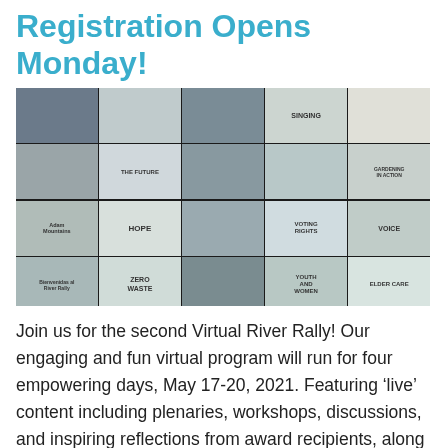Registration Opens Monday!
[Figure (photo): Screenshot of a virtual Zoom meeting with multiple participants holding up signs with words such as SINGING, HOPE, VOTING RIGHTS, VOICE, ZERO WASTE, YOUTH AND WOMEN, ELDER CARE, INCLUSION, and others.]
Join us for the second Virtual River Rally! Our engaging and fun virtual program will run for four empowering days, May 17-20, 2021. Featuring ‘live’ content including plenaries, workshops, discussions, and inspiring reflections from award recipients, along with access to